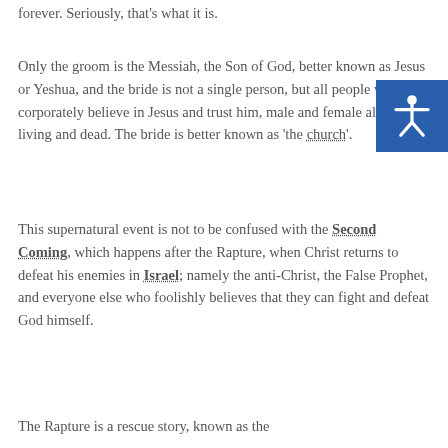forever.  Seriously, that's what it is.
Only the groom is the Messiah, the Son of God, better known as Jesus or Yeshua, and the bride is not a single person, but all people who corporately believe in Jesus and trust him, male and female alike, living and dead.  The bride is better known as 'the church'.
This supernatural event is not to be confused with the Second Coming, which happens after the Rapture, when Christ returns to defeat his enemies in Israel; namely the anti-Christ, the False Prophet, and everyone else who foolishly believes that they can fight and defeat God himself.
The Rapture is a rescue story, known as the